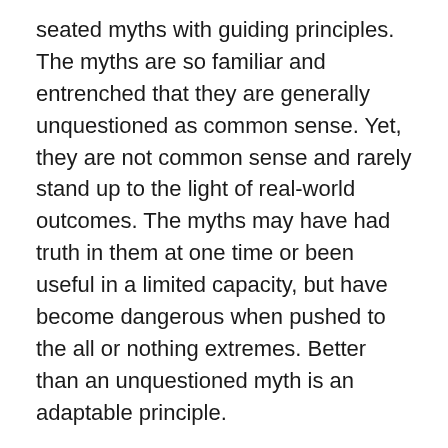seated myths with guiding principles. The myths are so familiar and entrenched that they are generally unquestioned as common sense. Yet, they are not common sense and rarely stand up to the light of real-world outcomes. The myths may have had truth in them at one time or been useful in a limited capacity, but have become dangerous when pushed to the all or nothing extremes. Better than an unquestioned myth is an adaptable principle.
Without giving too much away, the myth of “you are what you do” becomes the principle “you are what you can become”. It sounds like such a small shift, but is key to unshrinking ourselves. The myth of “work always comes first” is replaced with the real-world observable principle “life always comes first”. Holding to the extremes of the myths is dangerous, as we’re about to see. The principles